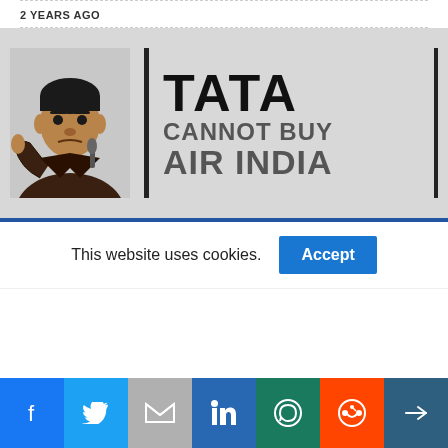2 YEARS AGO
[Figure (photo): News article thumbnail with photo of a man pointing finger on the left, and bold text 'TATA CANNOT BUY AIR INDIA' on the right with vertical black bars as design elements, on a grey background.]
This website uses cookies.
Accept